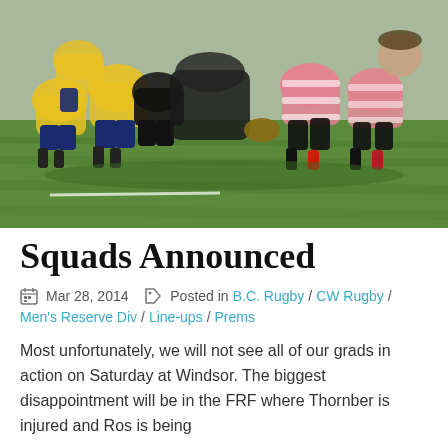[Figure (photo): Rugby players in a scrum on a grass field. Players in yellow and blue jerseys on the left, players in pink and white striped jerseys on the right.]
Squads Announced
Mar 28, 2014   Posted in B.C. Rugby / CW Rugby / Men's Reserve Div / Line-ups / Prems
Most unfortunately, we will not see all of our grads in action on Saturday at Windsor. The biggest disappointment will be in the FRF where Thornber is injured and Ros is being